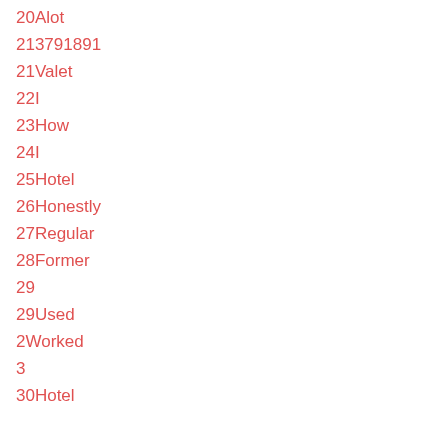20Alot
213791891
21Valet
22I
23How
24I
25Hotel
26Honestly
27Regular
28Former
29
29Used
2Worked
3
30Hotel